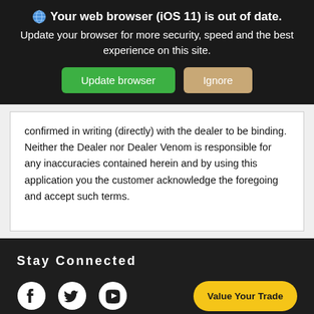[Figure (screenshot): Browser update warning banner with globe icon, bold text 'Your web browser (iOS 11) is out of date.', subtitle text, green 'Update browser' button and tan 'Ignore' button on dark background]
confirmed in writing (directly) with the dealer to be binding. Neither the Dealer nor Dealer Venom is responsible for any inaccuracies contained herein and by using this application you the customer acknowledge the foregoing and accept such terms.
Stay Connected
[Figure (infographic): Social media icons: Facebook circle, Twitter bird, YouTube play button, and a yellow 'Value Your Trade' pill button on dark background]
Call Us